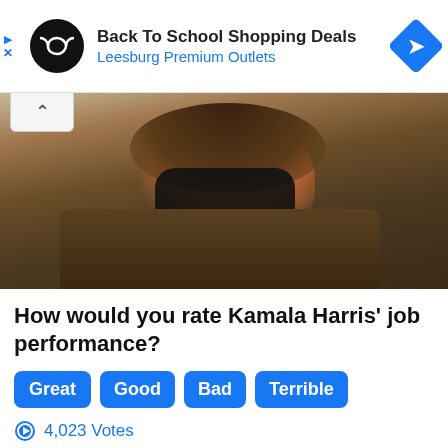[Figure (logo): Ad banner: black circular logo with infinity/loop symbol, text 'Back To School Shopping Deals' bold, subtitle 'Leesburg Premium Outlets' in blue, blue diamond navigation icon on right, small play and X controls on left]
[Figure (photo): Photo of Kamala Harris wearing a black face mask and brown blazer, touching her temple with one hand, seated indoors]
How would you rate Kamala Harris' job performance?
[Figure (infographic): Four blue rounded buttons labeled: Great, Good, Bad, Terrible]
4,023 Votes
[Figure (photo): Partial photo at bottom showing green foliage/garden background]